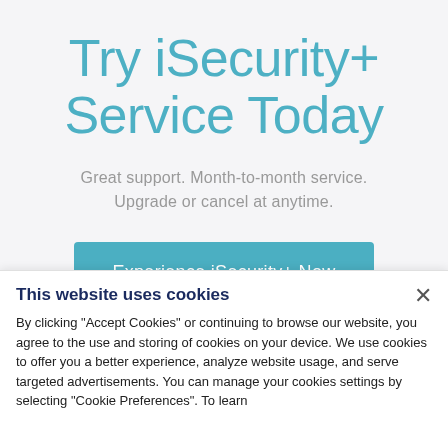Try iSecurity+ Service Today
Great support. Month-to-month service. Upgrade or cancel at anytime.
Experience iSecurity+ Now
This website uses cookies
By clicking "Accept Cookies" or continuing to browse our website, you agree to the use and storing of cookies on your device. We use cookies to offer you a better experience, analyze website usage, and serve targeted advertisements. You can manage your cookies settings by selecting "Cookie Preferences". To learn